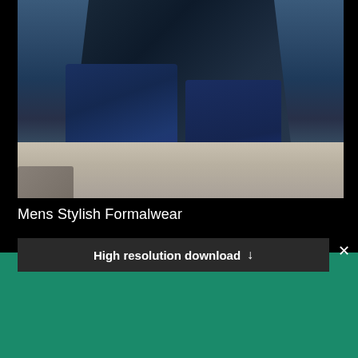[Figure (photo): Man in dark suit and blue pants sitting on a gray couch, formalwear product photo]
Mens Stylish Formalwear
High resolution download ↓
[Figure (logo): Shopify logo - white shopping bag icon with 'shopify' wordmark in white italic text on green background]
Need an online store for your business?
Start free trial